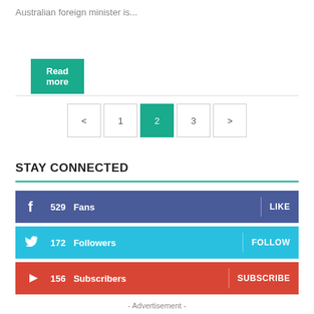Australian foreign minister is...
Read more
< 1 2 3 >
STAY CONNECTED
529  Fans  LIKE
172  Followers  FOLLOW
156  Subscribers  SUBSCRIBE
- Advertisement -